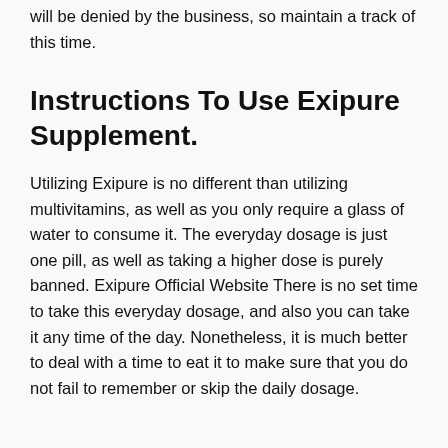will be denied by the business, so maintain a track of this time.
Instructions To Use Exipure Supplement.
Utilizing Exipure is no different than utilizing multivitamins, as well as you only require a glass of water to consume it. The everyday dosage is just one pill, as well as taking a higher dose is purely banned. Exipure Official Website There is no set time to take this everyday dosage, and also you can take it any time of the day. Nonetheless, it is much better to deal with a time to eat it to make sure that you do not fail to remember or skip the daily dosage.